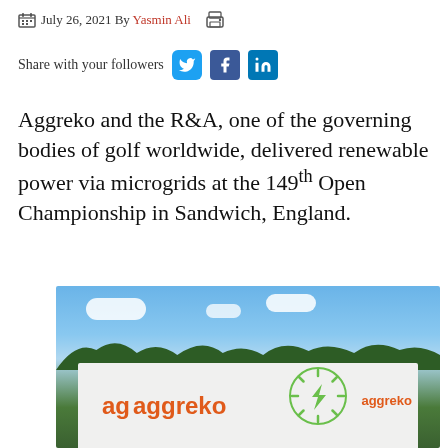July 26, 2021 By Yasmin Ali
Share with your followers
Aggreko and the R&A, one of the governing bodies of golf worldwide, delivered renewable power via microgrids at the 149th Open Championship in Sandwich, England.
[Figure (photo): Aggreko branded power equipment/signage with blue sky and clouds in background, showing the aggreko logo in orange text and a green sun/lightning bolt logo]